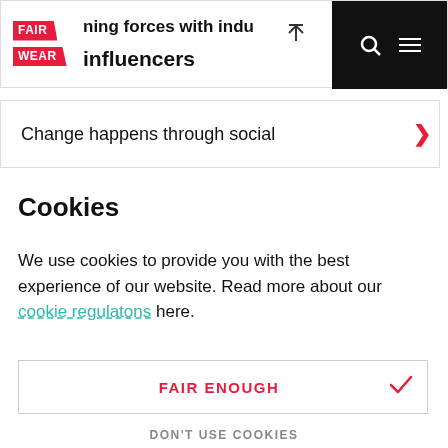[Figure (screenshot): Fair Wear Foundation website header navigation bar with logo, partial page title 'ning forces with indu influencers', up arrow icon, search icon, and hamburger menu on black background]
Change happens through social
Cookies
We use cookies to provide you with the best experience of our website. Read more about our cookie regulatons here.
FAIR ENOUGH
DON'T USE COOKIES